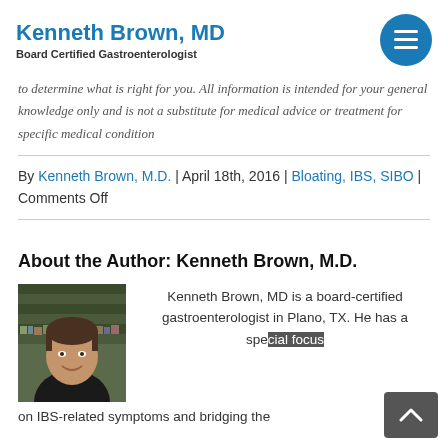Kenneth Brown, MD | Board Certified Gastroenterologist
to determine what is right for you. All information is intended for your general knowledge only and is not a substitute for medical advice or treatment for specific medical condition
By Kenneth Brown, M.D. | April 18th, 2016 | Bloating, IBS, SIBO | Comments Off
About the Author: Kenneth Brown, M.D.
[Figure (photo): Photo of Kenneth Brown, MD - a smiling man in dark clothing with bookshelves in background]
Kenneth Brown, MD is a board-certified gastroenterologist in Plano, TX. He has a special focus on IBS-related symptoms and bridging the